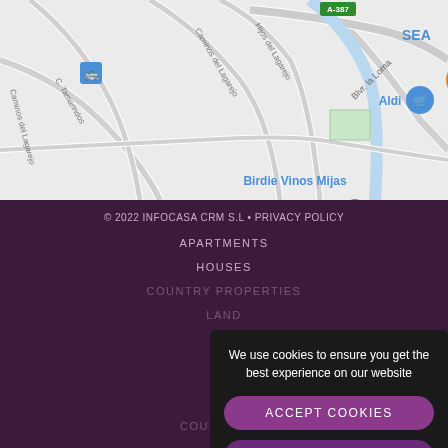[Figure (map): Google Maps screenshot showing area with Aldi, Burger King, Birdie Vinos Mijas, road labels (A-387, Blvr. la Loma, C. Tamarindos, Caminos del Lagarejo), and bus stop icons]
© 2022 INFOCASA CRM S.L • PRIVACY POLICY
APARTMENTS
HOUSES
COUNTRY PROPERTIES
LAND
We use cookies to ensure you get the best experience on our website
ACCEPT COOKIES
MORE INFO